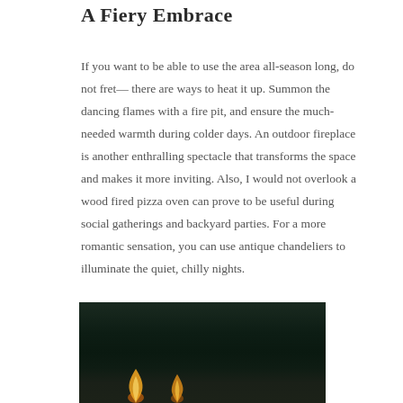A Fiery Embrace
If you want to be able to use the area all-season long, do not fret— there are ways to heat it up. Summon the dancing flames with a fire pit, and ensure the much-needed warmth during colder days. An outdoor fireplace is another enthralling spectacle that transforms the space and makes it more inviting. Also, I would not overlook a wood fired pizza oven can prove to be useful during social gatherings and backyard parties. For a more romantic sensation, you can use antique chandeliers to illuminate the quiet, chilly nights.
[Figure (photo): Dark nighttime outdoor scene with glowing fire or candle flames visible at the bottom of the image against a very dark green-black background.]